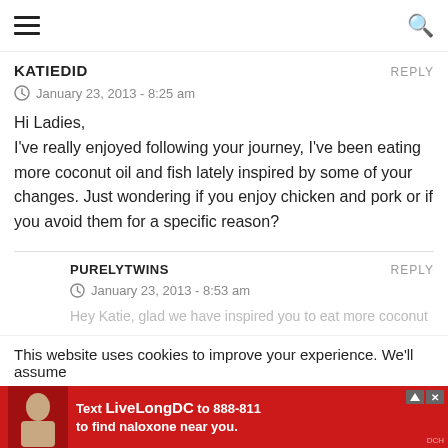≡  [navigation menu and search icon]
KATIEDID
REPLY
January 23, 2013 - 8:25 am
Hi Ladies,
I've really enjoyed following your journey, I've been eating more coconut oil and fish lately inspired by some of your changes. Just wondering if you enjoy chicken and pork or if you avoid them for a specific reason?
PURELYTWINS
REPLY
January 23, 2013 - 8:53 am
Hey Katie, glad we have inspired you to eat more coconut oil
This website uses cookies to improve your experience. We'll assume
[Figure (infographic): Red advertisement banner: 'Text LiveLongDC to 888-811 to find naloxone near you.' with close buttons and a photo of a person.]